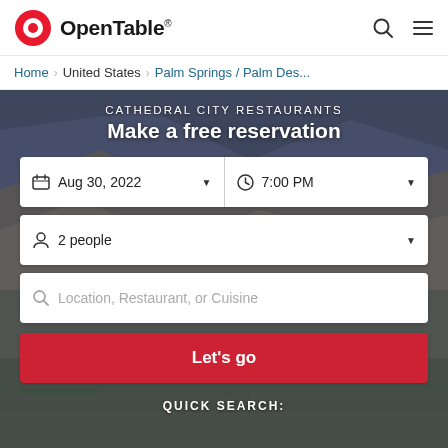OpenTable®
Home › United States › Palm Springs / Palm Des...
CATHEDRAL CITY RESTAURANTS
Make a free reservation
Aug 30, 2022  ▾  |  7:00 PM  ▾
2 people  ▾
Location, Restaurant, or Cuisine
Let's go
QUICK SEARCH: